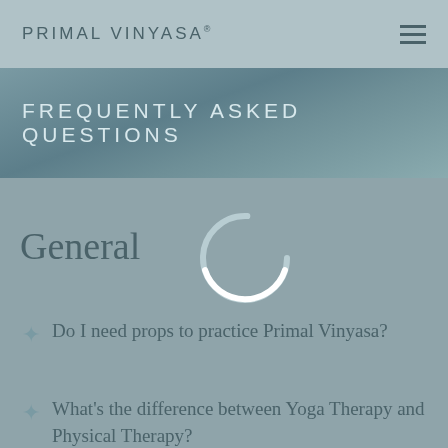PRIMAL VINYASA®
FREQUENTLY ASKED QUESTIONS
General
[Figure (other): Loading spinner circle graphic, partially visible white arc at bottom]
Do I need props to practice Primal Vinyasa?
What's the difference between Yoga Therapy and Physical Therapy?
What is Primal Medicine?